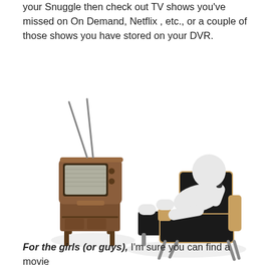your Snuggle then check out TV shows you've missed on On Demand, Netflix , etc., or a couple of those shows you have stored on your DVR.
[Figure (illustration): A 3D illustration of a white stick-figure person reclining in a modern wooden lounge chair with a footrest, watching an old-fashioned retro brown television set with rabbit-ear antennas on a wooden stand, against a white background.]
For the girls (or guys), I'm sure you can find a movie